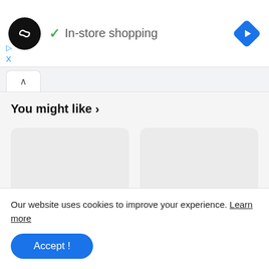[Figure (logo): Black circle logo with two overlapping infinity/arrow symbols in white]
✓ In-store shopping
[Figure (illustration): Blue diamond-shaped navigation/directions icon with white arrow]
▷
X
You might like ›
[Figure (other): Two grey placeholder card rectangles side by side]
Our website uses cookies to improve your experience. Learn more
Accept !